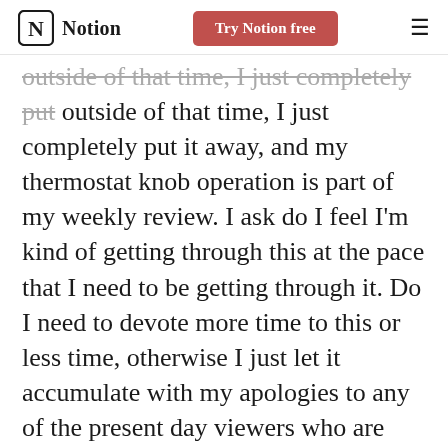Notion | Try Notion free
outside of that time, I just completely put it away, and my thermostat knob operation is part of my weekly review. I ask do I feel I'm kind of getting through this at the pace that I need to be getting through it. Do I need to devote more time to this or less time, otherwise I just let it accumulate with my apologies to any of the present day viewers who are waiting on a reply from me to something.
And initially I feel bad about this because heartfelt and personal messages arrive and there's real correspondence that